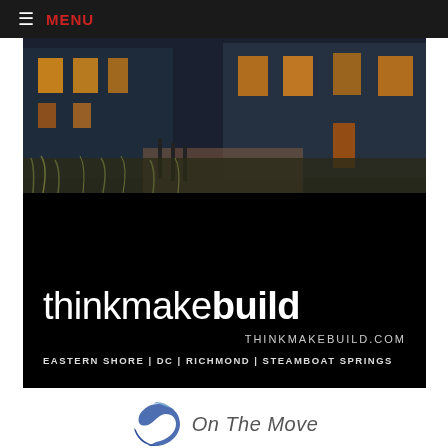≡ MENU
[Figure (photo): Advertisement for thinkmakebuild showing a modern building at dusk/night with illuminated windows above a dark black background. Text reads: thinkmakebuild, THINKMAKEBUILD.COM, EASTERN SHORE | DC | RICHMOND | STEAMBOAT SPRINGS]
[Figure (logo): Partial logo showing a blue swirl/swoosh shape next to the text 'On The Move' in gray italic font]